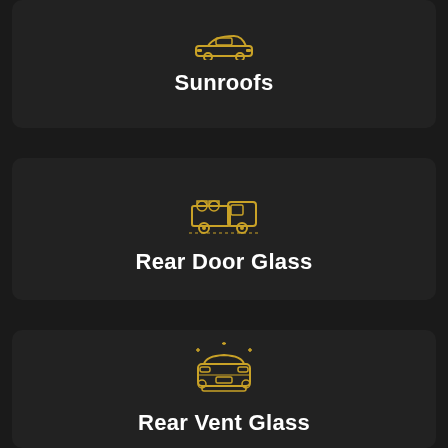[Figure (illustration): Golden car silhouette icon (sunroof visible on top) with label Sunroofs]
Sunroofs
[Figure (illustration): Golden delivery truck icon carrying cylindrical cargo with label Rear Door Glass]
Rear Door Glass
[Figure (illustration): Golden front-facing car icon with sparkle lines indicating clean glass, with label Rear Vent Glass]
Rear Vent Glass